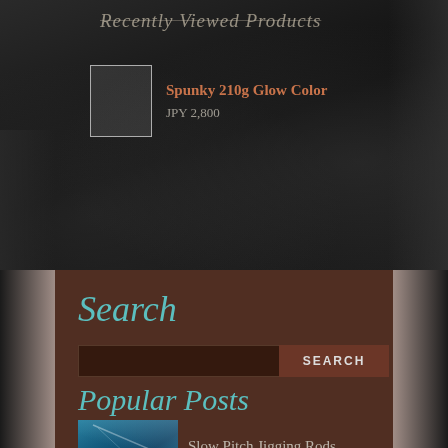Recently Viewed Products
Spunky 210g Glow Color
JPY 2,800
Search
Popular Posts
Slow Pitch Jigging Rods